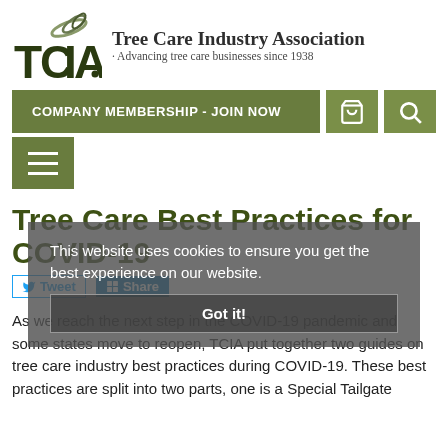[Figure (logo): TCIA logo with swirl graphic and text 'Tree Care Industry Association · Advancing tree care businesses since 1938']
COMPANY MEMBERSHIP - JOIN NOW
Tree Care Best Practices for COVID-19
Tweet  Share
This website uses cookies to ensure you get the best experience on our website.
Got it!
As we reach the next step in the COVID-19 pandemic and some states move to reopen, TCIA put together two guides on tree care industry best practices during COVID-19. These best practices are split into two parts, one is a Special Tailgate